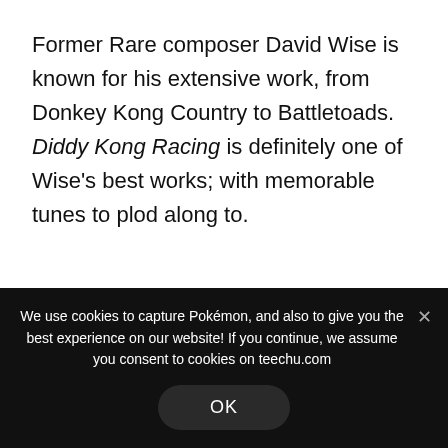Former Rare composer David Wise is known for his extensive work, from Donkey Kong Country to Battletoads. Diddy Kong Racing is definitely one of Wise's best works; with memorable tunes to plod along to.
FEATURED GAMING TEES
We use cookies to capture Pokémon, and also to give you the best experience on our website! If you continue, we assume you consent to cookies on teechu.com
OK